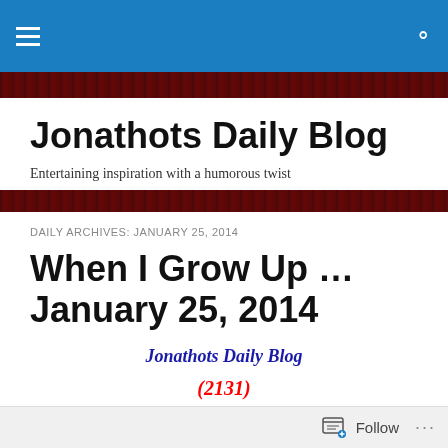Jonathots Daily Blog — site header navigation bar
Jonathots Daily Blog
Entertaining inspiration with a humorous twist
DAILY ARCHIVES: JANUARY 25, 2014
When I Grow Up … January 25, 2014
Jonathots Daily Blog
(2131)
Follow